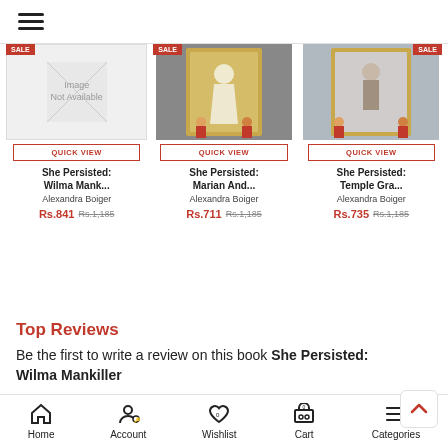☰ (hamburger menu)
[Figure (screenshot): Product card 1: Image Not Available placeholder, QUICK VIEW button, She Persisted: Wilma Mank..., Alexandra Boiger, Rs.841 Rs.1,185]
[Figure (screenshot): Product card 2: Book cover image (woman in white dress), QUICK VIEW button, She Persisted: Marian And..., Alexandra Boiger, Rs.711 Rs.1,185]
[Figure (screenshot): Product card 3: Book cover image (figure at mirror), QUICK VIEW button, She Persisted: Temple Gra..., Alexandra Boiger, Rs.735 Rs.1,185]
Top Reviews
Be the first to write a review on this book She Persisted: Wilma Mankiller
Home | Account | Wishlist 0 | Cart 0 | Categories